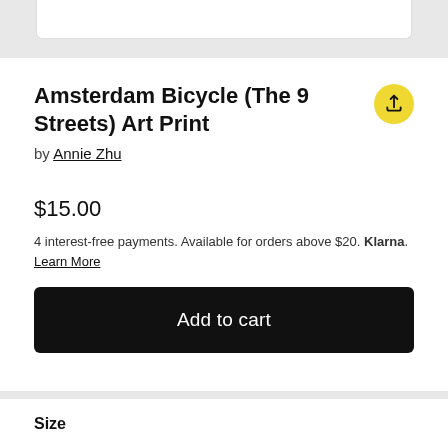[Figure (screenshot): Top gray section with a white card/bar at the top]
Amsterdam Bicycle (The 9 Streets) Art Print
by Annie Zhu
$15.00
4 interest-free payments. Available for orders above $20. Klarna. Learn More
Add to cart
Size